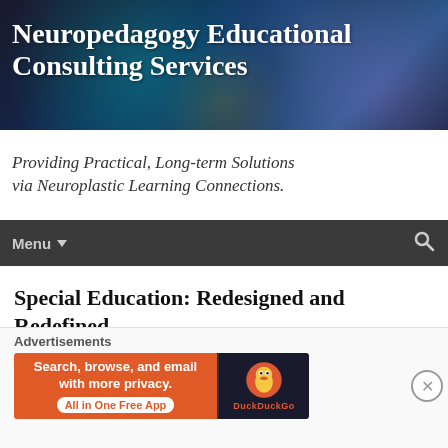Neuropedagogy Educational Consulting Services
Providing Practical, Long-term Solutions via Neuroplastic Learning Connections.
Menu
Special Education: Redesigned and Redefined
February 21, 2015   Neuropedagogy   bias, disability, education reform, educational classifications, general education, IDEA, self-esteem, special education, stigma, teachers
[Figure (screenshot): DuckDuckGo advertisement banner: orange background with text 'Search, browse, and email with more privacy. All in One Free App' and DuckDuckGo logo on dark background]